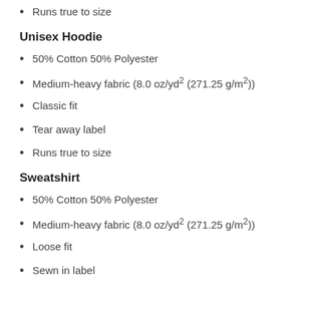Tear away label
Runs true to size
Unisex Hoodie
50% Cotton 50% Polyester
Medium-heavy fabric (8.0 oz/yd² (271.25 g/m²))
Classic fit
Tear away label
Runs true to size
Sweatshirt
50% Cotton 50% Polyester
Medium-heavy fabric (8.0 oz/yd² (271.25 g/m²))
Loose fit
Sewn in label